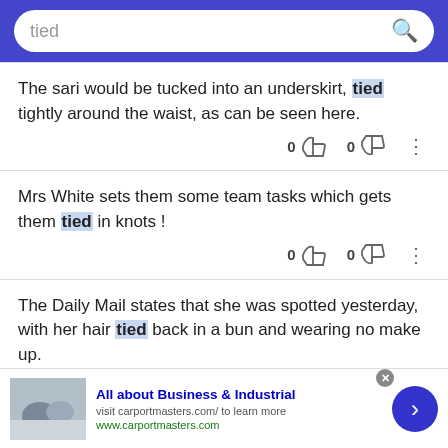tied [search query]
The sari would be tucked into an underskirt, tied tightly around the waist, as can be seen here.
Mrs White sets them some team tasks which gets them tied in knots !
The Daily Mail states that she was spotted yesterday, with her hair tied back in a bun and wearing no make up.
All about Business & Industrial — visit carportmasters.com/ to learn more — www.carportmasters.com